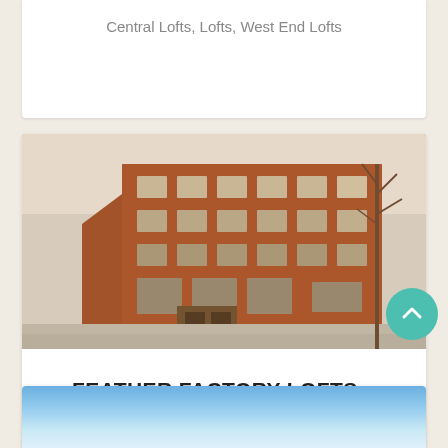Central Lofts, Lofts, West End Lofts
[Figure (photo): Exterior photo of a large red brick industrial loft building, multi-storey with large windows, taken from street level in winter with bare trees visible]
FEATHER FACTORY LOFTS – 2154 DUNDAS ST W
Lofts, West End Lofts